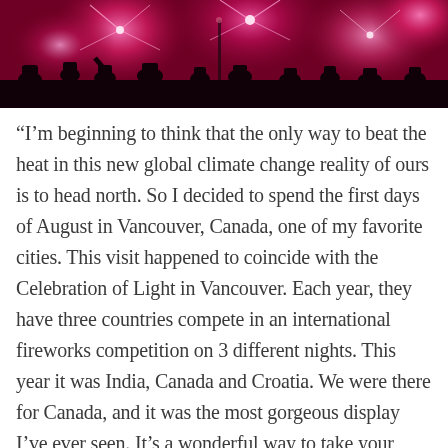[Figure (photo): Fireworks display at night with crowd silhouettes in foreground, pink and magenta fireworks against dark sky]
“I’m beginning to think that the only way to beat the heat in this new global climate change reality of ours is to head north. So I decided to spend the first days of August in Vancouver, Canada, one of my favorite cities. This visit happened to coincide with the Celebration of Light in Vancouver. Each year, they have three countries compete in an international fireworks competition on 3 different nights. This year it was India, Canada and Croatia. We were there for Canada, and it was the most gorgeous display I’ve ever seen. It’s a wonderful way to take your mind off the temperature, but I tell you what, I wouldn’t want to be a dog in Vancouver at this time of year.” – Barb